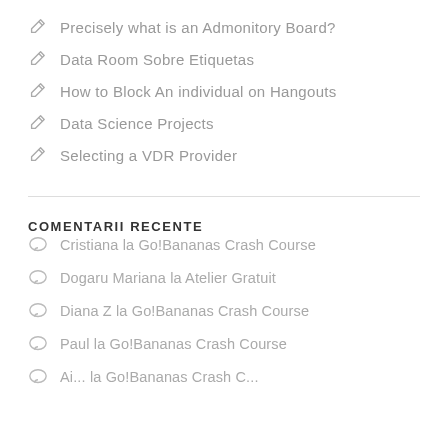Precisely what is an Admonitory Board?
Data Room Sobre Etiquetas
How to Block An individual on Hangouts
Data Science Projects
Selecting a VDR Provider
COMENTARII RECENTE
Cristiana la Go!Bananas Crash Course
Dogaru Mariana la Atelier Gratuit
Diana Z la Go!Bananas Crash Course
Paul la Go!Bananas Crash Course
Ai... la Go!Bananas Crash C...